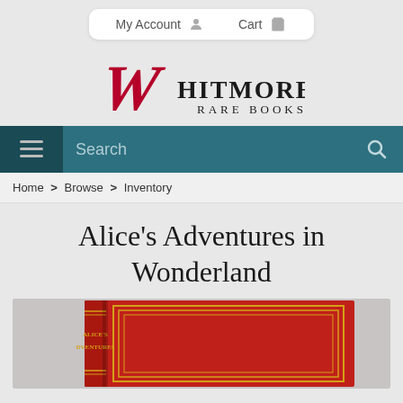My Account   Cart
[Figure (logo): Whitmore Rare Books logo with decorative cursive W and serif text HITMORE RARE BOOKS]
[Figure (screenshot): Navigation bar with hamburger menu and search bar on teal background]
Home > Browse > Inventory
Alice's Adventures in Wonderland
[Figure (photo): Photo of a red leather-bound book spine and cover labeled ALICE'S ADVENTURES in gold lettering]